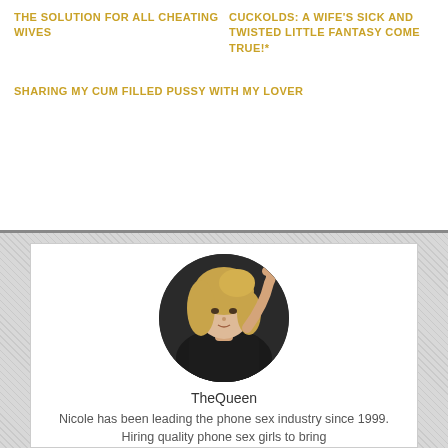THE SOLUTION FOR ALL CHEATING WIVES
CUCKOLDS: A WIFE'S SICK AND TWISTED LITTLE FANTASY COME TRUE!*
SHARING MY CUM FILLED PUSSY WITH MY LOVER
[Figure (photo): Circular profile photo of a blonde woman in a dark top, hand raised near her head, posed against a dark background]
TheQueen
Nicole has been leading the phone sex industry since 1999. Hiring quality phone sex girls to bring